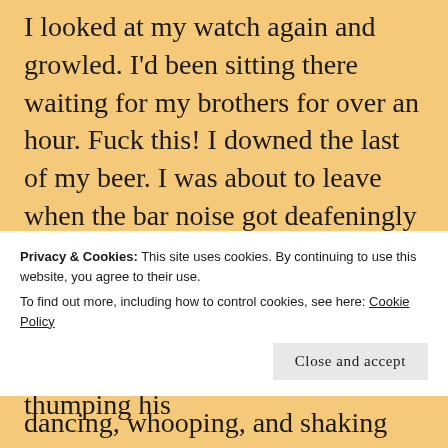I looked at my watch again and growled. I'd been sitting there waiting for my brothers for over an hour. Fuck this! I downed the last of my beer. I was about to leave when the bar noise got deafeningly louder. The band started playing an old Garth Brooks song about friends in low places. Stud was the front man, singing into a mic, thumping his
Privacy & Cookies: This site uses cookies. By continuing to use this website, you agree to their use.
To find out more, including how to control cookies, see here: Cookie Policy
Close and accept
dancing, whooping, and shaking